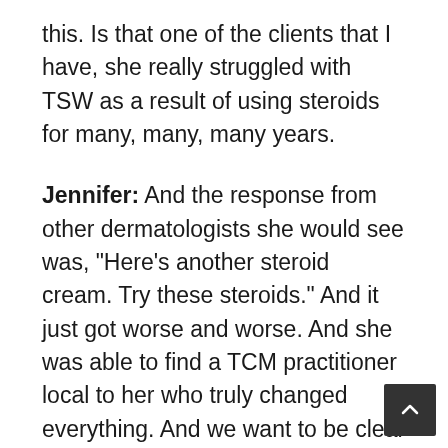this. Is that one of the clients that I have, she really struggled with TSW as a result of using steroids for many, many, many years.
Jennifer: And the response from other dermatologists she would see was, "Here's another steroid cream. Try these steroids." And it just got worse and worse. And she was able to find a TCM practitioner local to her who truly changed everything. And we want to be clear here that not all TCM practitioners focus in this area. So that's why I wanted to have you here because I think the insight that you're going to impart to people who are struggling with this or have this concern today will really be life-changing. So just to frame the conversation, from